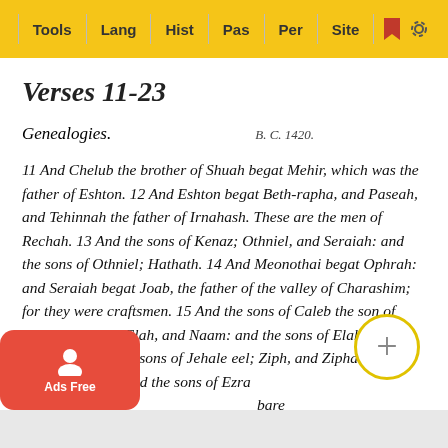Tools | Lang | Hist | Pas | Per | Site
Verses 11-23
Genealogies.    B. C. 1420.
11 And Chelub the brother of Shuah begat Mehir, which was the father of Eshton. 12 And Eshton begat Beth-rapha, and Paseah, and Tehinnah the father of Irnahash. These are the men of Rechah. 13 And the sons of Kenaz; Othniel, and Seraiah: and the sons of Othniel; Hathath. 14 And Meonothai begat Ophrah: and Seraiah begat Joab, the father of the valley of Charashim; for they were craftsmen. 15 And the sons of Caleb the son of Jephunneh; Iru, Elah, and Naam: and the sons of Elah, even Kenaz. 16 And the sons of Jehaleleel; Ziph, and Ziphah, Tiria, and Asareel. 17 And the sons of Ezra were, Jether, and Mered, and Epher, and Jalon: and she bare Miriam, and Shammai, and Ishbah the father of Eshtemoa. 18 And h...